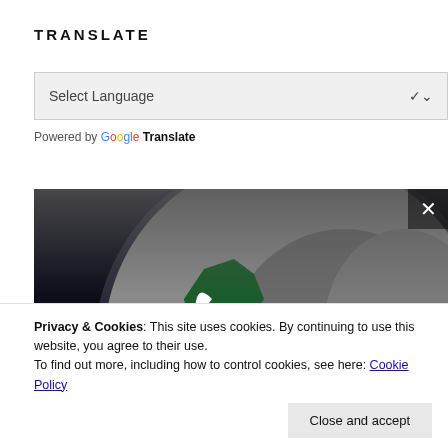TRANSLATE
[Figure (screenshot): Select Language dropdown box with grey background and chevron arrow]
Powered by Google Translate
[Figure (photo): Globe image showing Pakistan highlighted in green with crescent and star symbol, dark space background]
Privacy & Cookies: This site uses cookies. By continuing to use this website, you agree to their use.
To find out more, including how to control cookies, see here: Cookie Policy
Close and accept